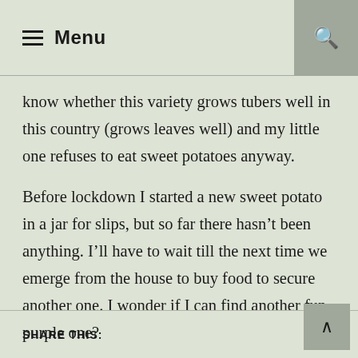Menu
know whether this variety grows tubers well in this country (grows leaves well) and my little one refuses to eat sweet potatoes anyway.
Before lockdown I started a new sweet potato in a jar for slips, but so far there hasn’t been anything. I’ll have to wait till the next time we emerge from the house to buy food to secure another one. I wonder if I can find another fun purple one?
SHARE THIS: